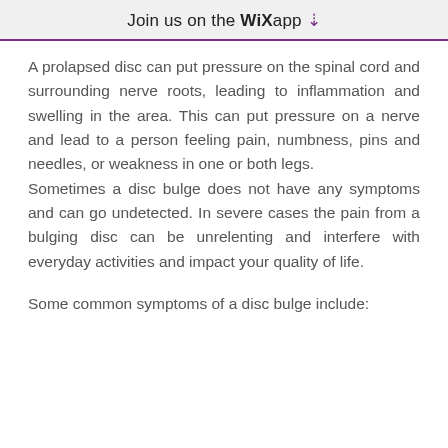Join us on the WiX app
A prolapsed disc can put pressure on the spinal cord and surrounding nerve roots, leading to inflammation and swelling in the area. This can put pressure on a nerve and lead to a person feeling pain, numbness, pins and needles, or weakness in one or both legs. Sometimes a disc bulge does not have any symptoms and can go undetected. In severe cases the pain from a bulging disc can be unrelenting and interfere with everyday activities and impact your quality of life.
Some common symptoms of a disc bulge include: